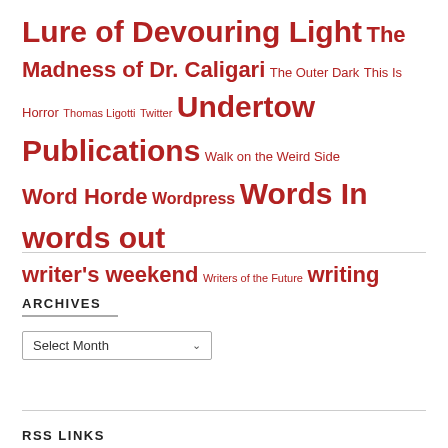Lure of Devouring Light The Madness of Dr. Caligari The Outer Dark This Is Horror Thomas Ligotti Twitter Undertow Publications Walk on the Weird Side Word Horde Wordpress Words In words out writer's weekend Writers of the Future writing
ARCHIVES
Select Month
RSS LINKS